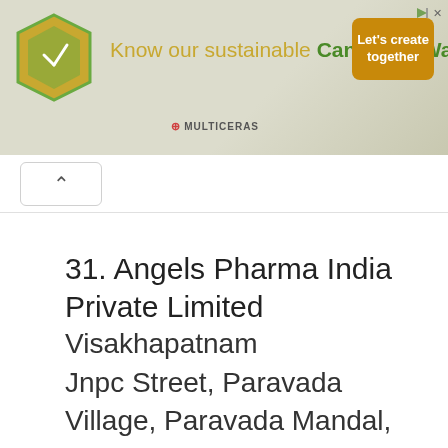[Figure (screenshot): Advertisement banner for Candelilla Wax by Multiceras. Features an orange hexagon logo on left, text 'Know our sustainable Candelilla Wax' in center, and an orange 'Let's create together' call-to-action button on the right. Small Multiceras logo at the bottom center.]
31. Angels Pharma India Private Limited
Visakhapatnam
Jnpc Street, Paravada Village, Paravada Mandal, Visakhapatnam District
Bulk Drugs, Pharmaceuticals Bulk Drugs Pharmaceuticals